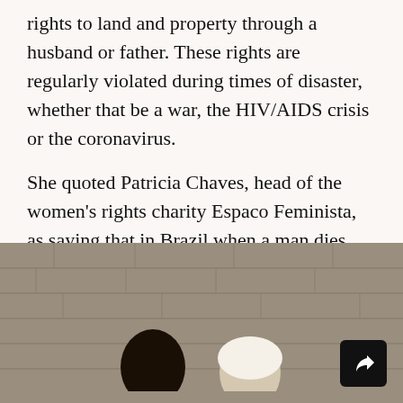rights to land and property through a husband or father. These rights are regularly violated during times of disaster, whether that be a war, the HIV/AIDS crisis or the coronavirus.
She quoted Patricia Chaves, head of the women's rights charity Espaco Feminista, as saying that in Brazil when a man dies, women are approached at the funeral about selling their land.
[Figure (photo): Photograph showing two people from the shoulders/head up, one with dark skin and one with lighter skin wearing a white head covering, standing in front of a stone wall. A share button (arrow icon) is visible in the bottom right corner.]